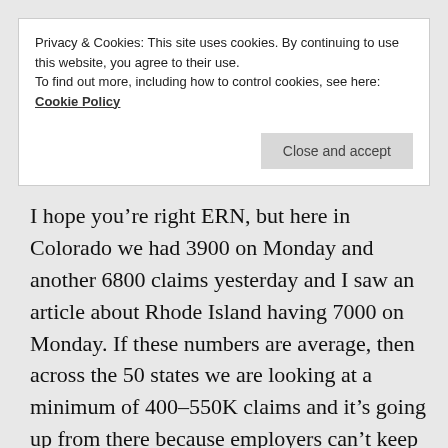Privacy & Cookies: This site uses cookies. By continuing to use this website, you agree to their use.
To find out more, including how to control cookies, see here: Cookie Policy
Close and accept
I hope you’re right ERN, but here in Colorado we had 3900 on Monday and another 6800 claims yesterday and I saw an article about Rhode Island having 7000 on Monday. If these numbers are average, then across the 50 states we are looking at a minimum of 400-550K claims and it’s going up from there because employers can’t keep paying their workers.
Liked by 1 person
Reply